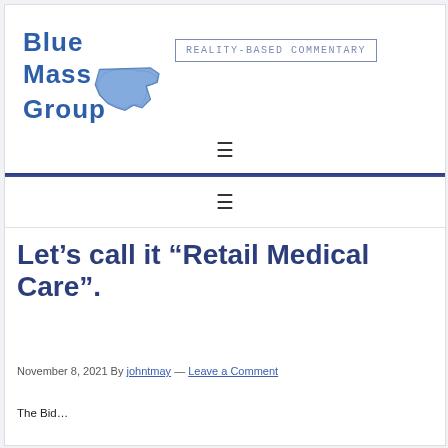[Figure (logo): Blue Mass Group logo with Massachusetts state outline in blue, bold text 'Blue Mass Group']
REALITY-BASED COMMENTARY
☰ (hamburger menu icon)
☰ (hamburger menu icon, second nav bar)
Let’s call it “Retail Medical Care”.
November 8, 2021 By johntmay — Leave a Comment
The Bid… (article preview text, partially visible)